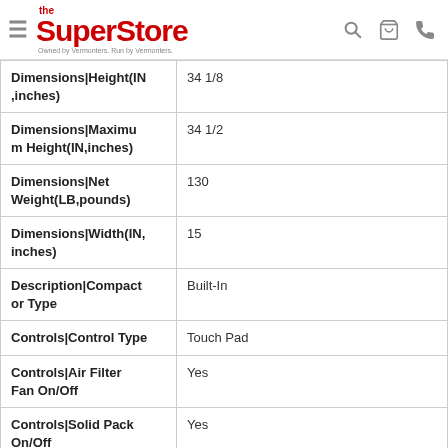the SuperStore — Owned by Vermonters. Run by Vermonters.
| Attribute | Value |
| --- | --- |
| Dimensions|Height(IN,inches) | 34 1/8 |
| Dimensions|Maximum Height(IN,inches) | 34 1/2 |
| Dimensions|Net Weight(LB,pounds) | 130 |
| Dimensions|Width(IN,inches) | 15 |
| Description|Compactor Type | Built-In |
| Controls|Control Type | Touch Pad |
| Controls|Air Filter Fan On/Off | Yes |
| Controls|Solid Pack On/Off | Yes |